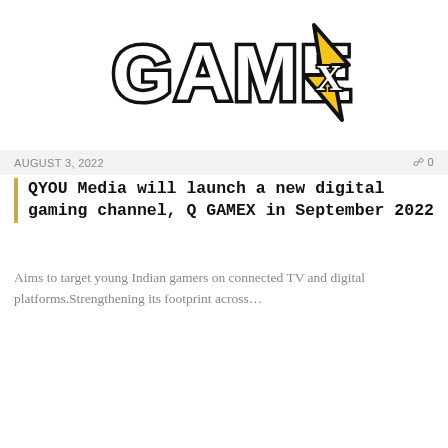[Figure (logo): Q GAMEX logo with yellow lightning bolt arrow and bold black lettered text 'GAMEX' on white background]
AUGUST 3, 2022   0
QYOU Media will launch a new digital gaming channel, Q GAMEX in September 2022
Aims to target young Indian gamers on connected TV and digital platforms.Strengthening its footprint across…
[Figure (illustration): Market Research Intellect branded illustration showing two people presenting data charts, pie charts, bar charts and line graphs on boards/screens. 'DIGITAL CHANNEL' badge overlay in gold/tan color.]